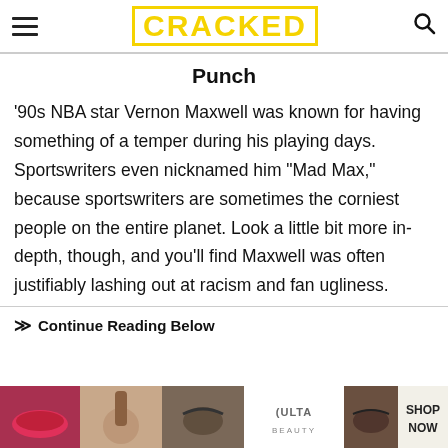CRACKED
Punch
'90s NBA star Vernon Maxwell was known for having something of a temper during his playing days. Sportswriters even nicknamed him "Mad Max," because sportswriters are sometimes the corniest people on the entire planet. Look a little bit more in-depth, though, and you'll find Maxwell was often justifiably lashing out at racism and fan ugliness.
Continue Reading Below
[Figure (photo): ULTA beauty advertisement banner with makeup images and SHOP NOW call to action]